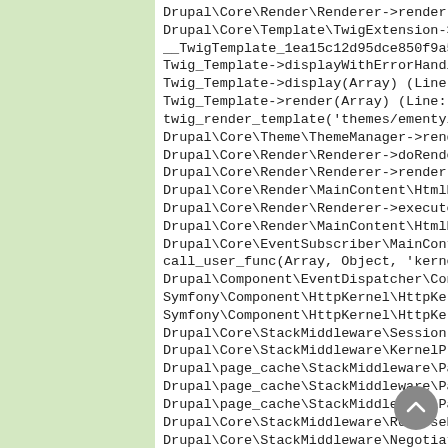[Figure (screenshot): A scrollable code/stack-trace panel on a white background with light green sidebar, showing Drupal/Symfony PHP call stack lines in monospace font, with a scroll-up button at bottom right.]